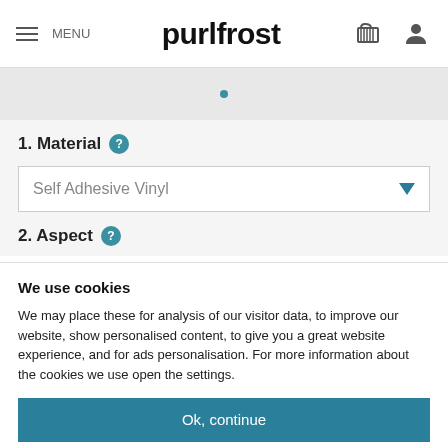MENU | purlfrost
1. Material
Self Adhesive Vinyl
2. Aspect
We use cookies
We may place these for analysis of our visitor data, to improve our website, show personalised content, to give you a great website experience, and for ads personalisation. For more information about the cookies we use open the settings.
Ok, continue
Deny
No, adjust